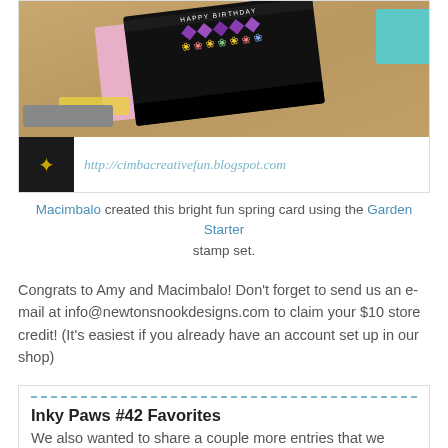[Figure (photo): Photo of a colorful birthday card with purple diamonds and yellow flowers on black background, alongside ink pads on a wooden surface, with a blog avatar and URL bar showing http://cimbacreativefun.blogspot.com]
Macimbalo created this bright fun spring card using the Garden Starter stamp set.
Congrats to Amy and Macimbalo! Don't forget to send us an e-mail at info@newtonsnookdesigns.com to claim your $10 store credit! (It's easiest if you already have an account set up in our shop)
Inky Paws #42 Favorites
We also wanted to share a couple more entries that we really loved! We chose TWO more as our favorite picks! If